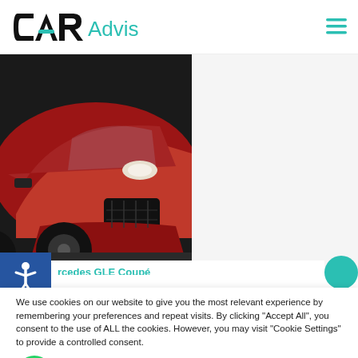CAR Adviser
[Figure (photo): Red Mercedes-Benz GLE Coupe SUV front/side view on dark road surface]
rcades GLE Coupé
We use cookies on our website to give you the most relevant experience by remembering your preferences and repeat visits. By clicking "Accept All", you consent to the use of ALL the cookies. However, you may visit "Cookie Settings" to provide a controlled consent.
Settings
Accept All